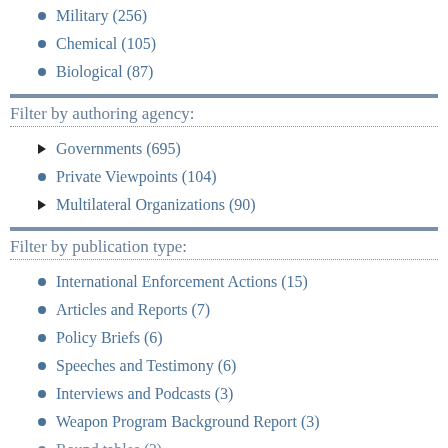Military (256)
Chemical (105)
Biological (87)
Filter by authoring agency:
Governments (695)
Private Viewpoints (104)
Multilateral Organizations (90)
Filter by publication type:
International Enforcement Actions (15)
Articles and Reports (7)
Policy Briefs (6)
Speeches and Testimony (6)
Interviews and Podcasts (3)
Weapon Program Background Report (3)
Round tables (?)